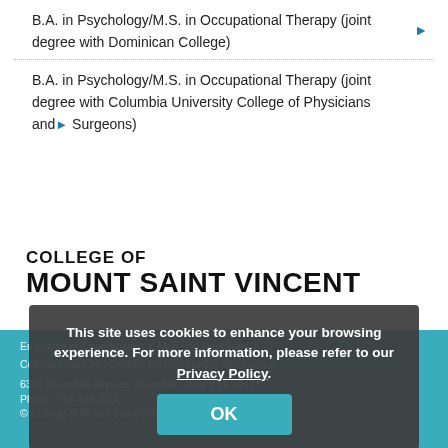B.A. in Psychology/M.S. in Occupational Therapy (joint degree with Dominican College)
B.A. in Psychology/M.S. in Occupational Therapy (joint degree with Columbia University College of Physicians and Surgeons)
COLLEGE OF MOUNT SAINT VINCENT
Employment Opportunities | Map and Directions | College Directory | Contact Us | Go Hartley Resources
6301 Riverdale Avenue, Riverdale, New York 10471
Phone: 718-405-3200
© College of Mount Saint Vincent
This site uses cookies to enhance your browsing experience. For more information, please refer to our Privacy Policy.